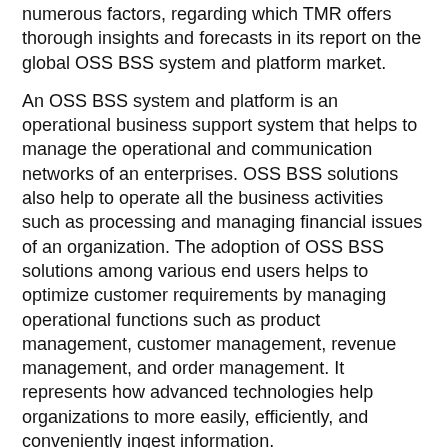numerous factors, regarding which TMR offers thorough insights and forecasts in its report on the global OSS BSS system and platform market.
An OSS BSS system and platform is an operational business support system that helps to manage the operational and communication networks of an enterprises. OSS BSS solutions also help to operate all the business activities such as processing and managing financial issues of an organization. The adoption of OSS BSS solutions among various end users helps to optimize customer requirements by managing operational functions such as product management, customer management, revenue management, and order management. It represents how advanced technologies help organizations to more easily, efficiently, and conveniently ingest information.
Request a Sample-
https://www.transparencymarketresearch.com/sample/sample